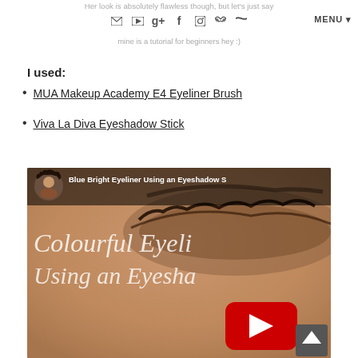Her look is absolutely flawless though, but let's just say mine is a tutorial for beginners hey :) [social icons] MENU
I used:
MUA Makeup Academy E4 Eyeliner Brush
Viva La Diva Eyeshadow Stick
[Figure (screenshot): YouTube video thumbnail showing a close-up of an eye with text 'Colourful Eyeliner Using an Eyeshadow S' overlaid. Channel avatar of a woman with curly hair visible. Video title bar reads 'Blue Bright Eyeliner Using an Eyeshadow S'. Large red YouTube play button visible.]